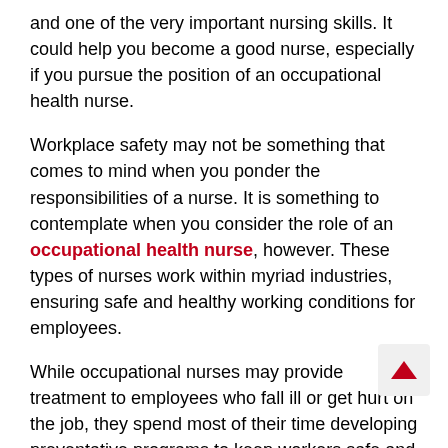and one of the very important nursing skills. It could help you become a good nurse, especially if you pursue the position of an occupational health nurse.
Workplace safety may not be something that comes to mind when you ponder the responsibilities of a nurse. It is something to contemplate when you consider the role of an occupational health nurse, however. These types of nurses work within myriad industries, ensuring safe and healthy working conditions for employees.
While occupational nurses may provide treatment to employees who fall ill or get hurt on the job, they spend most of their time developing preventative programs to keep workers safe and healthy. Some of their efforts may include workplace exercise programs, stress management initiatives, or smoking cessation plans, for example.
Most occupational nurses have a Bachelor of Science in Nursing with a specialty in occupational nursing. Many are professionally certified by the American Board for